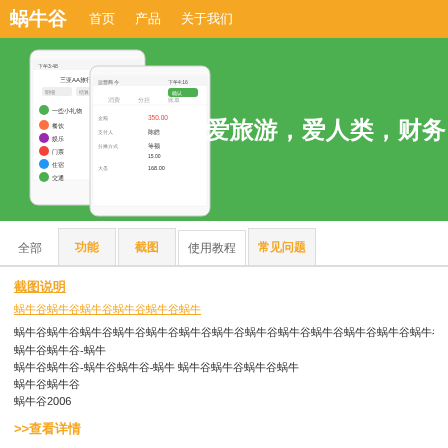蜗牛谷  首页  产品  关于我们
[Figure (screenshot): Green banner with mobile app screenshots on the left and Chinese text '爱旅游，爱人类，财务' on the right in white bold font]
全部  功能  截图  使用教程  常见问题
截图说明
蜗牛谷蜗牛谷蜗牛谷蜗牛谷蜗牛谷蜗牛
蜗牛谷蜗牛谷蜗牛谷蜗牛谷蜗牛谷蜗牛谷蜗牛谷蜗牛谷蜗牛谷蜗牛谷蜗牛谷蜗牛谷蜗牛谷蜗牛谷蜗牛谷蜗牛谷蜗牛谷蜗牛谷蜗牛谷蜗牛谷蜗牛谷蜗牛谷蜗牛谷蜗牛
蜗牛谷蜗牛谷-蜗牛
蜗牛谷蜗牛谷-蜗牛谷蜗牛谷-蜗牛 蜗牛谷蜗牛谷蜗牛谷蜗牛
蜗牛谷蜗牛谷
蜗牛谷2006
>>查看详情